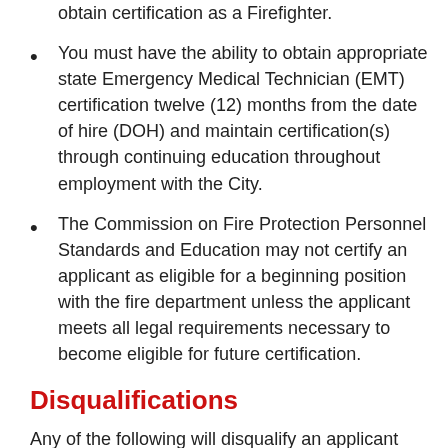obtain certification as a Firefighter.
You must have the ability to obtain appropriate state Emergency Medical Technician (EMT) certification twelve (12) months from the date of hire (DOH) and maintain certification(s) through continuing education throughout employment with the City.
The Commission on Fire Protection Personnel Standards and Education may not certify an applicant as eligible for a beginning position with the fire department unless the applicant meets all legal requirements necessary to become eligible for future certification.
Disqualifications
Any of the following will disqualify an applicant